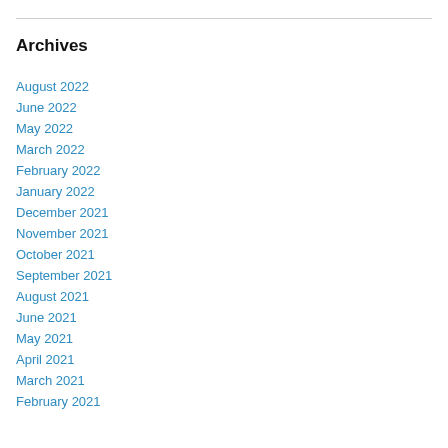Archives
August 2022
June 2022
May 2022
March 2022
February 2022
January 2022
December 2021
November 2021
October 2021
September 2021
August 2021
June 2021
May 2021
April 2021
March 2021
February 2021